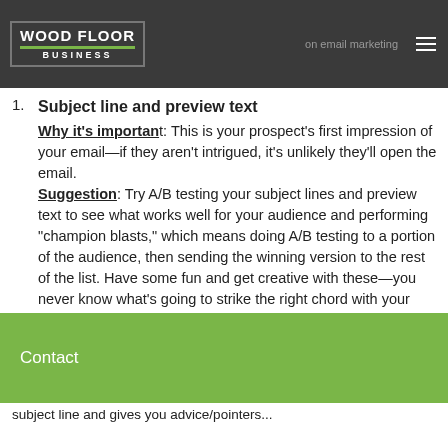Wood Floor Business — on email marketing
Subject line and preview text
Why it's important: This is your prospect's first impression of your email—if they aren't intrigued, it's unlikely they'll open the email.
Suggestion: Try A/B testing your subject lines and preview text to see what works well for your audience and performing "champion blasts," which means doing A/B testing to a portion of the audience, then sending the winning version to the rest of the list. Have some fun and get creative with these—you never know what's going to strike the right chord with your audience. Also, when you are thinking about subject line and gives you advice/pointers...
Contact